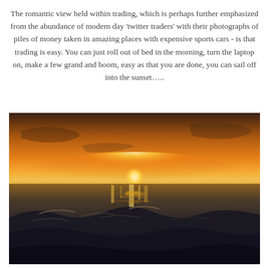The romantic view held within trading, which is perhaps further emphasized from the abundance of modern day 'twitter traders' with their photographs of piles of money taken in amazing places with expensive sports cars - is that trading is easy. You can just roll out of bed in the morning, turn the laptop on, make a few grand and boom, easy as that you are done, you can sail off into the sunset…..
[Figure (photo): An ocean sunset photograph taken from water level. The sky is orange and golden with the sun setting on the horizon. Dark ocean waves are visible in the foreground with golden reflections on the water surface.]